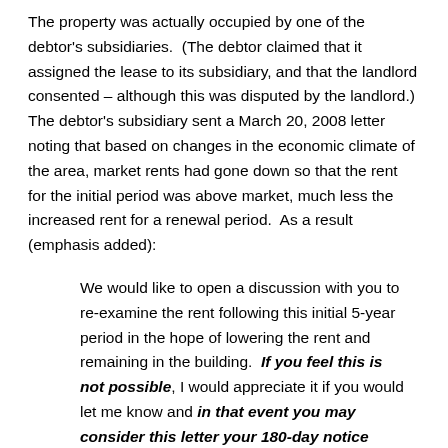The property was actually occupied by one of the debtor's subsidiaries.  (The debtor claimed that it assigned the lease to its subsidiary, and that the landlord consented – although this was disputed by the landlord.)  The debtor's subsidiary sent a March 20, 2008 letter noting that based on changes in the economic climate of the area, market rents had gone down so that the rent for the initial period was above market, much less the increased rent for a renewal period.  As a result (emphasis added):
We would like to open a discussion with you to re-examine the rent following this initial 5-year period in the hope of lowering the rent and remaining in the building.  If you feel this is not possible, I would appreciate it if you would let me know and in that event you may consider this letter your 180-day notice